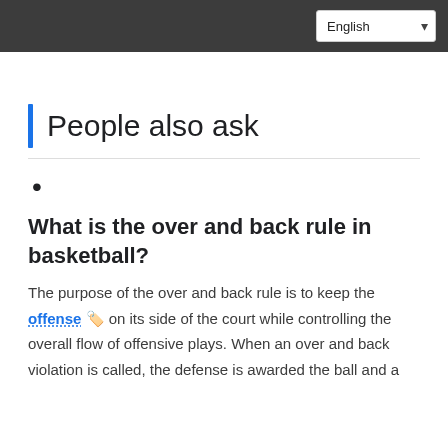English
People also ask
•
What is the over and back rule in basketball?
The purpose of the over and back rule is to keep the offense on its side of the court while controlling the overall flow of offensive plays. When an over and back violation is called, the defense is awarded the ball and a